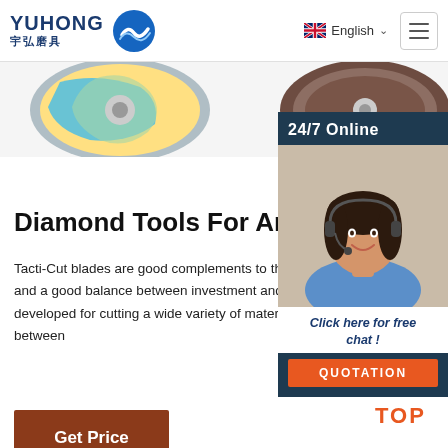YUHONG 宇弘磨具 | English | Menu
[Figure (photo): Product image strip showing diamond cutting wheels/discs — colorful disc on left and brown disc on right, partially cropped]
Diamond Tools For Angle Grinder
Tacti-Cut blades are good complements to the blades, giving high cutting speed and a good balance between investment and performance. Husqvarna blades are developed for cutting a wide variety of materials, without having to change between
[Figure (photo): 24/7 Online customer service popup sidebar showing a woman with headset smiling, with 'Click here for free chat!' text and an orange QUOTATION button]
Get Price
[Figure (illustration): Orange 'TOP' back-to-top button icon with dots forming an upward triangle above the text TOP]